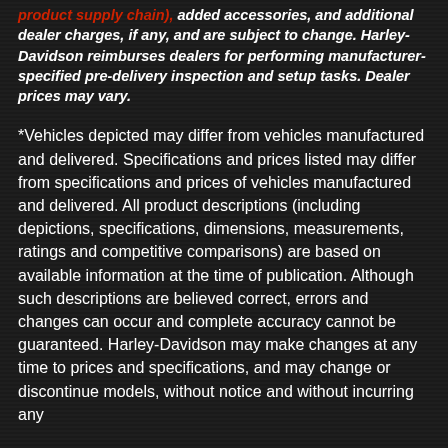product supply chain), added accessories, and additional dealer charges, if any, and are subject to change. Harley-Davidson reimburses dealers for performing manufacturer-specified pre-delivery inspection and setup tasks. Dealer prices may vary.
*Vehicles depicted may differ from vehicles manufactured and delivered. Specifications and prices listed may differ from specifications and prices of vehicles manufactured and delivered. All product descriptions (including depictions, specifications, dimensions, measurements, ratings and competitive comparisons) are based on available information at the time of publication. Although such descriptions are believed correct, errors and changes can occur and complete accuracy cannot be guaranteed. Harley-Davidson may make changes at any time to prices and specifications, and may change or discontinue models, without notice and without incurring any